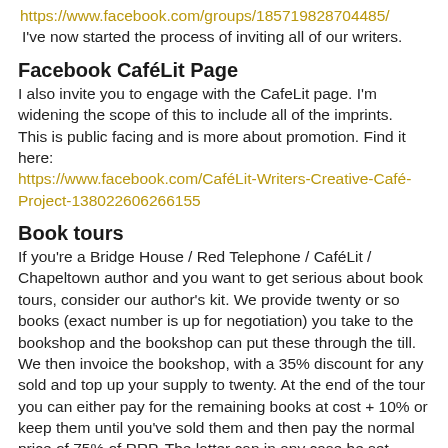https://www.facebook.com/groups/185719828704485/
I've now started the process of inviting all of our writers.
Facebook CaféLit Page
I also invite you to engage with the CafeLit page. I'm widening the scope of this to include all of the imprints.  This is public facing and is more about promotion. Find it here: https://www.facebook.com/CaféLit-Writers-Creative-Café-Project-138022606266155
Book tours
If you're a Bridge House / Red Telephone / CaféLit / Chapeltown author and you want to get serious about book tours, consider our author's kit. We provide twenty or so books (exact number is up for negotiation) you take to the bookshop and the bookshop can put these through the till. We then invoice the bookshop, with a 35% discount for any sold and top up your supply to twenty. At the end of the tour you can either pay for the remaining books at cost + 10% or keep them until you've sold them and then pay the normal price of 75% of RRP. The latter can in any case be set against royalties. You need to allow at least ten days